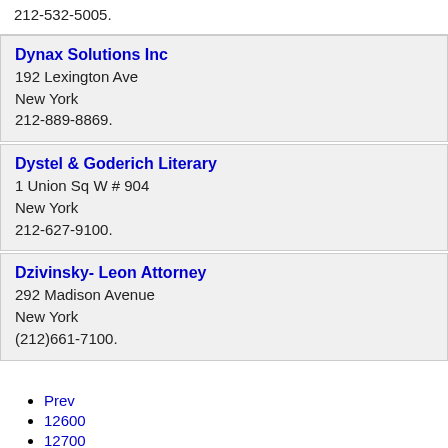212-532-5005.
Dynax Solutions Inc
192 Lexington Ave
New York
212-889-8869.
Dystel & Goderich Literary
1 Union Sq W # 904
New York
212-627-9100.
Dzivinsky- Leon Attorney
292 Madison Avenue
New York
(212)661-7100.
Prev
12600
12700
12800
12900
13000
13100